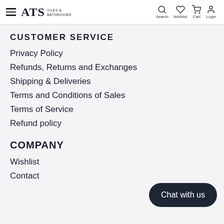ATS Tiles & Bathrooms — Search, Wishlist, Cart, Login
CUSTOMER SERVICE
Privacy Policy
Refunds, Returns and Exchanges
Shipping & Deliveries
Terms and Conditions of Sales
Terms of Service
Refund policy
COMPANY
Wishlist
Contact
Chat with us